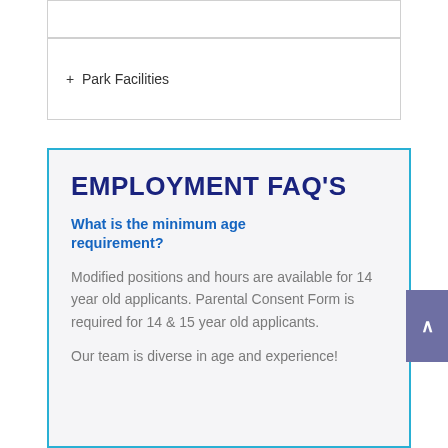+ Park Facilities
EMPLOYMENT FAQ'S
What is the minimum age requirement?
Modified positions and hours are available for 14 year old applicants. Parental Consent Form is required for 14 & 15 year old applicants.
Our team is diverse in age and experience!